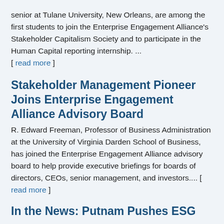senior at Tulane University, New Orleans, are among the first students to join the Enterprise Engagement Alliance's Stakeholder Capitalism Society and to participate in the Human Capital reporting internship. ... [ read more ]
Stakeholder Management Pioneer Joins Enterprise Engagement Alliance Advisory Board
R. Edward Freeman, Professor of Business Administration at the University of Virginia Darden School of Business, has joined the Enterprise Engagement Alliance advisory board to help provide executive briefings for boards of directors, CEOs, senior management, and investors.... [ read more ]
In the News: Putnam Pushes ESG